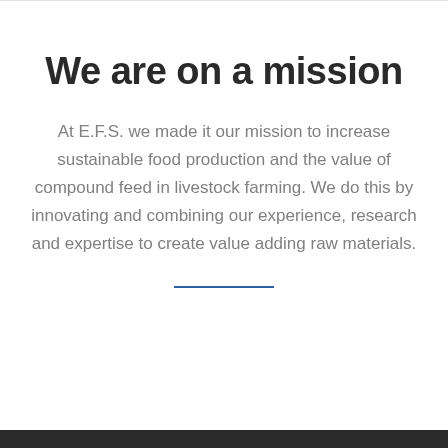We are on a mission
At E.F.S. we made it our mission to increase sustainable food production and the value of compound feed in livestock farming. We do this by innovating and combining our experience, research and expertise to create value adding raw materials.